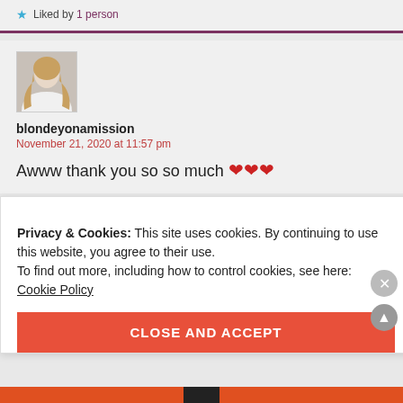★ Liked by 1 person
blondeyonamission
November 21, 2020 at 11:57 pm
Awww thank you so so much ❤❤❤
Privacy & Cookies: This site uses cookies. By continuing to use this website, you agree to their use.
To find out more, including how to control cookies, see here:
Cookie Policy
CLOSE AND ACCEPT